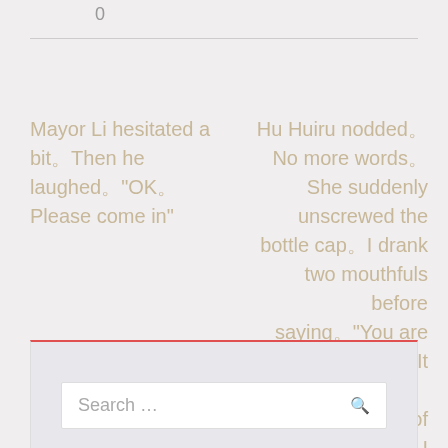0
Mayor Li hesitated a bit。Then he laughed。“OK。Please come in”
Hu Huiru nodded。No more words。She suddenly unscrewed the bottle cap。I drank two mouthfuls before saying。“You are right about this。It must be checked。As for what kind of Cheng Xi found。I really don’t know this”
Search …